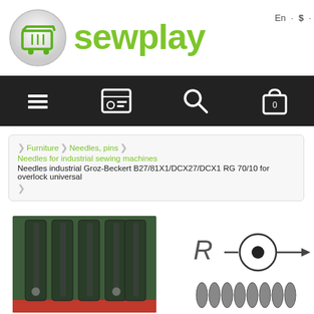[Figure (logo): Sewplay logo with green shopping cart button and green text 'sewplay']
En · $ ·
[Figure (other): Dark navigation bar with hamburger menu, contact card, search, and shopping bag icons]
Furniture > Needles, pins > Needles for industrial sewing machines > Needles industrial Groz-Beckert B27/81X1/DCX27/DCX1 RG 70/10 for overlock universal
[Figure (photo): Left: Green-black needle package with multiple needles in slots. Right: Needle cross-section diagram with 'R' label and arrow, plus needle tip illustrations at bottom.]